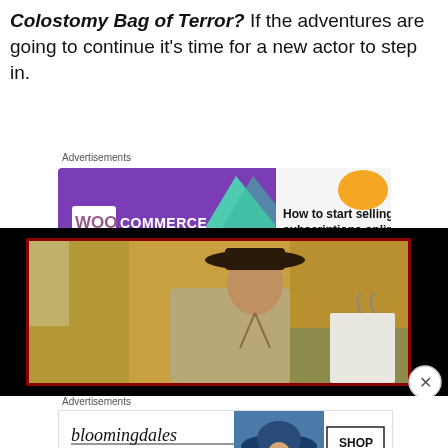Colostomy Bag of Terror?  If the adventures are going to continue it's time for a new actor to step in.
Advertisements
[Figure (other): WooCommerce advertisement banner: purple background with WooCommerce logo on left, teal arrow shape in center, orange/teal blob shapes on right, text 'How to start selling subscriptions online']
[Figure (photo): Video player with black border showing a man in a wide-brimmed hat and khaki shirt standing in a kitchen, with a red inner border frame. Close button (X) visible at bottom right.]
Advertisements
[Figure (other): Bloomingdale's advertisement: white background with Bloomingdale's logo in italic serif font, 'View Today's Top Deals!' text, image of woman in wide-brim blue hat, and 'SHOP NOW >' button in bordered box]